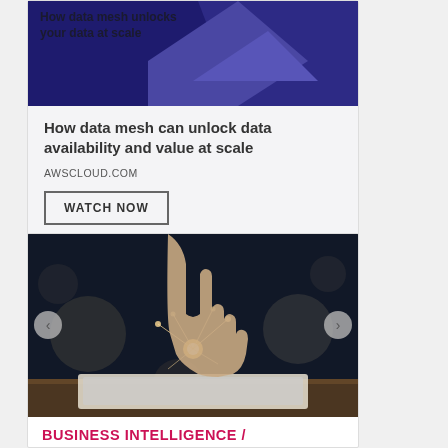[Figure (illustration): AWS data mesh advertisement card with dark navy/purple geometric shapes and text overlay reading 'How data mesh unlocks your data at scale', followed by body text 'How data mesh can unlock data availability and value at scale', URL 'AWSCLOUD.COM', and a 'WATCH NOW' button]
How data mesh can unlock data availability and value at scale
AWSCLOUD.COM
[Figure (photo): A person's hand pointing at a glowing network/digital interface above a tablet on a wooden surface, with bokeh lights in the background]
BUSINESS INTELLIGENCE /